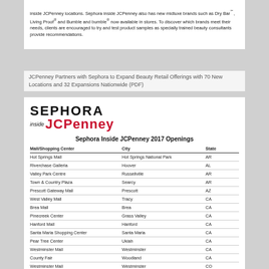inside JCPenney locations. Sephora inside JCPenney also has new midluxe brands such as Dry Bar℠, Living Proof® and Bumble and bumble® now available in stores. To discover which brands meet their needs, clients are encouraged to try and test product samples as specially trained beauty consultants provide recommendations.
JCPenney Partners with Sephora to Expand Beauty Retail Offerings with 70 New Locations and 32 Expansions Nationwide (PDF)
[Figure (logo): Sephora inside JCPenney logo]
Sephora Inside JCPenney 2017 Openings
| Mall/Shopping Center | City | State |
| --- | --- | --- |
| Hot Springs Mall | Hot Springs National Park | AR |
| Riverchase Galleria | Hoover | AL |
| Valley Park Centre | Russellville | AR |
| Town & Country Plaza | Searcy | AR |
| Prescott Gateway Mall | Prescott | AZ |
| West Valley Mall | Tracy | CA |
| Brea Mall | Brea | CA |
| Pinecreek Center | Grass Valley | CA |
| Hanford Mall | Hanford | CA |
| Santa Maria Shopping Center | Santa Maria | CA |
| Pear Tree Center | Ukiah | CA |
| Westminster Mall | Westminster | CA |
| County Fair | Woodland | CA |
| Westminster Mall | Westminster | CO |
| Danbury Fair | Danbury | CT |
| Westfield Trumbull | Trumbull | CT |
| Lake City Mall | Lake City | FL |
| Paddock Mall | Ocala | FL |
| Panama City Mall | Panama City | FL |